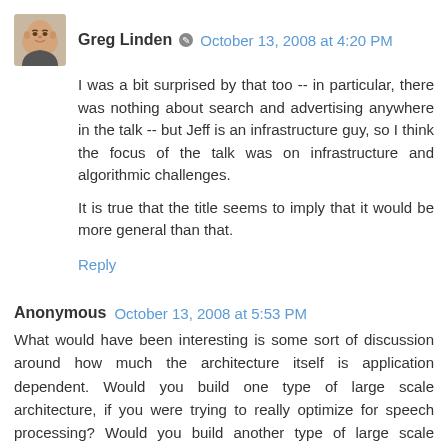[Figure (photo): Avatar photo of Greg Linden, a bald man with a slight smile]
Greg Linden  October 13, 2008 at 4:20 PM
I was a bit surprised by that too -- in particular, there was nothing about search and advertising anywhere in the talk -- but Jeff is an infrastructure guy, so I think the focus of the talk was on infrastructure and algorithmic challenges.
It is true that the title seems to imply that it would be more general than that.
Reply
Anonymous  October 13, 2008 at 5:53 PM
What would have been interesting is some sort of discussion around how much the architecture itself is application dependent. Would you build one type of large scale architecture, if you were trying to really optimize for speech processing? Would you build another type of large scale architecture if you were trying to really optimize for image processing? For standard text IR? Etc.